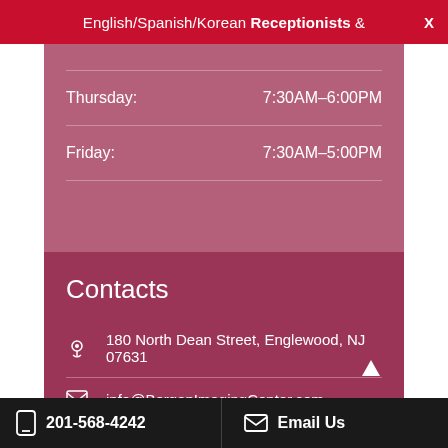English/Spanish/Korean Receptionists &
Thursday: 7:30AM–6:00PM
Friday: 7:30AM–5:00PM
Contacts
180 North Dean Street, Englewood, NJ 07631
info@BergenImagingCenter.com
201-568-4242
201-568-4242   Email Us